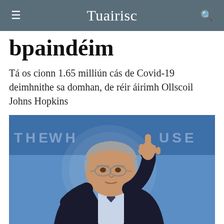Tuairisc
bpaindéim
Tá os cionn 1.65 milliún cás de Covid-19 deimhnithe sa domhan, de réir áirimh Ollscoil Johns Hopkins
[Figure (photo): A man in a dark suit with glasses, raising one index finger, speaking at a White House briefing podium with blue background showing partial 'THE WHITE HOUSE' text]